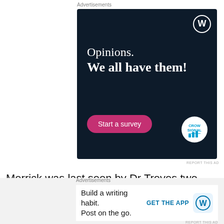Advertisements
[Figure (illustration): Dark navy blue advertisement banner for WordPress/Crowdsignal with text 'Opinions. We all have them!' and a pink 'Start a survey' button. WordPress logo top right, Crowdsignal logo bottom right.]
REPORT THIS AD
Merrick was last seen by Dr Treves two years ago. One day, the police brought Merrick to the London Hospital, the doctor's business card led them
Advertisements
[Figure (illustration): Bottom ad strip: Build a writing habit. Post on the go. GET THE APP with WordPress logo]
REPORT THIS AD